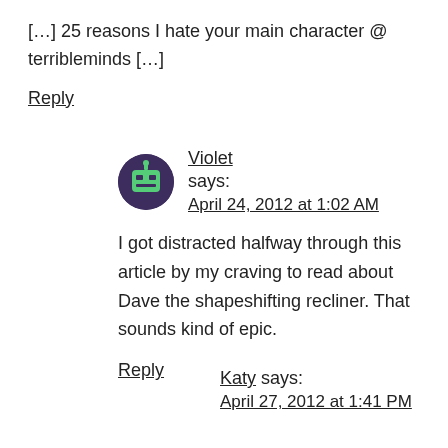[…] 25 reasons I hate your main character @ terribleminds […]
Reply
Violet says:
April 24, 2012 at 1:02 AM
I got distracted halfway through this article by my craving to read about Dave the shapeshifting recliner. That sounds kind of epic.
Reply
Katy says:
April 27, 2012 at 1:41 PM